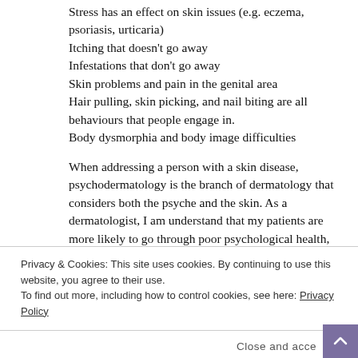Stress has an effect on skin issues (e.g. eczema, psoriasis, urticaria)
Itching that doesn’t go away
Infestations that don’t go away
Skin problems and pain in the genital area
Hair pulling, skin picking, and nail biting are all behaviours that people engage in.
Body dysmorphia and body image difficulties
When addressing a person with a skin disease, psychodermatology is the branch of dermatology that considers both the psyche and the skin. As a dermatologist, I am understand that my patients are more likely to go through poor psychological health, including feelings of embarrassment
Privacy & Cookies: This site uses cookies. By continuing to use this website, you agree to their use.
To find out more, including how to control cookies, see here: Privacy Policy
Close and acce
For example, someone with acne may be